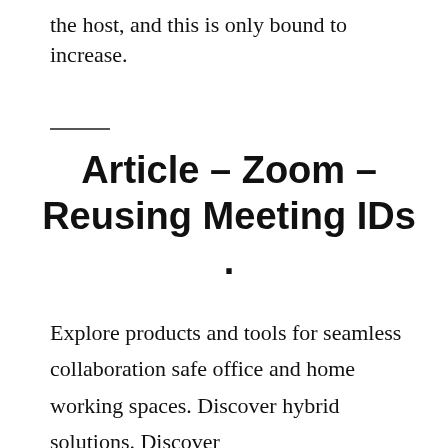the host, and this is only bound to increase.
Article – Zoom – Reusing Meeting IDs .
Explore products and tools for seamless collaboration safe office and home working spaces. Discover hybrid solutions. Discover